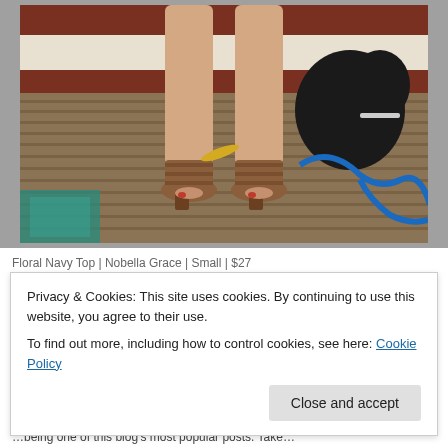[Figure (photo): Photo of a person's legs from the knees down, wearing brown strappy sandal heels, standing on a wooden deck/porch. A black dog is visible in the background on the right side, along with a blue rope/leash on the wooden boards. A teal and white geometric rug is partially visible on the lower left.]
Floral Navy Top | Nobella Grace | Small | $27
Privacy & Cookies: This site uses cookies. By continuing to use this website, you agree to their use.
To find out more, including how to control cookies, see here: Cookie Policy
Close and accept
…being one of this blog's most popular posts. Take…